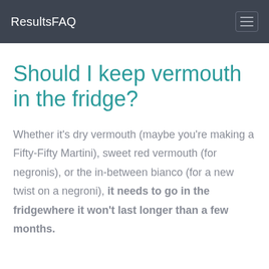ResultsFAQ
Should I keep vermouth in the fridge?
Whether it's dry vermouth (maybe you're making a Fifty-Fifty Martini), sweet red vermouth (for negronis), or the in-between bianco (for a new twist on a negroni), it needs to go in the fridgewhere it won't last longer than a few months.